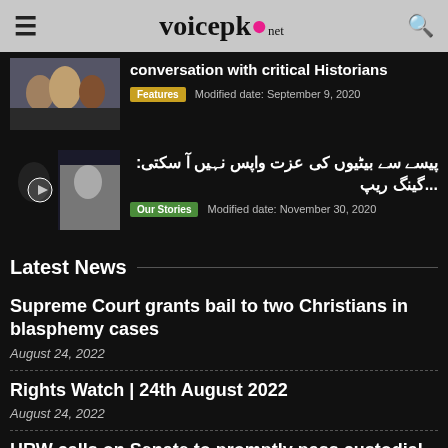voicepk.net
conversation with critical Historians
Features   Modified date: September 9, 2020
[Figure (photo): Group photo of three men]
پیسے سے بیٹیوں کی عزت واپس نہیں آ سکتی: ...گینگ ریپ
Our Stories   Modified date: November 30, 2020
[Figure (photo): Two women, one in black burqa]
Latest News
Supreme Court grants bail to two Christians in blasphemy cases
August 24, 2022
Rights Watch | 24th August 2022
August 24, 2022
HRW calls on Senate to promptly pass custodial